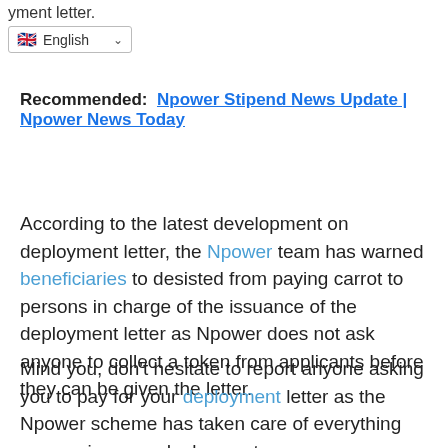yment letter.
[Figure (screenshot): Language selector dropdown showing British flag and 'English' with a dropdown arrow]
Recommended: Npower Stipend News Update | Npower News Today
According to the latest development on deployment letter, the Npower team has warned beneficiaries to desisted from paying carrot to persons in charge of the issuance of the deployment letter as Npower does not ask anyone to collect a token from applicants before they can be given the letter.
Mind you, don't hesitate to report anyone asking you to pay for your deployment letter as the Npower scheme has taken care of everything concerning your deployment